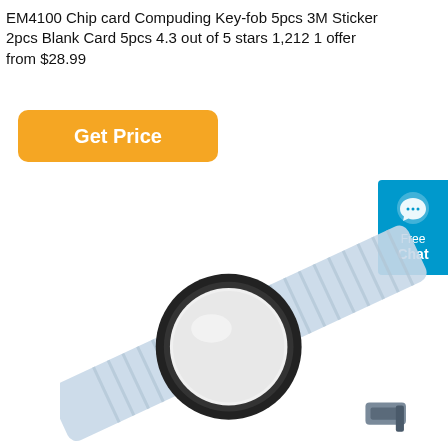EM4100 Chip card Compuding Key-fob 5pcs 3M Sticker 2pcs Blank Card 5pcs 4.3 out of 5 stars 1,212 1 offer from $28.99
[Figure (other): Orange rounded rectangle button labeled 'Get Price']
[Figure (other): Blue chat widget in the top-right corner with a speech bubble icon and text 'Free Chat']
[Figure (photo): Product photo of an RFID wristband with a black circular NFC token housing and a light blue/grey ribbed elastic band with a metal clasp buckle]